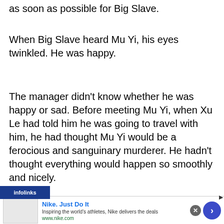as soon as possible for Big Slave.
When Big Slave heard Mu Yi, his eyes twinkled. He was happy.
The manager didn’t know whether he was happy or sad. Before meeting Mu Yi, when Xu Le had told him he was going to travel with him, he had thought Mu Yi would be a ferocious and sanguinary murderer. He hadn’t thought everything would happen so smoothly and nicely.
Even though some people had caused trouble on the way, they had quickly gotten rid of them. Apart
[Figure (screenshot): Infolinks advertisement overlay showing Nike Just Do It ad with image, text, close button, and forward arrow button]